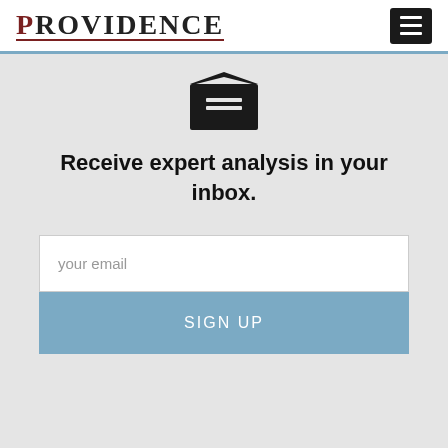PROVIDENCE
[Figure (illustration): Envelope icon with letter/lines inside, dark/black color]
Receive expert analysis in your inbox.
your email
SIGN UP